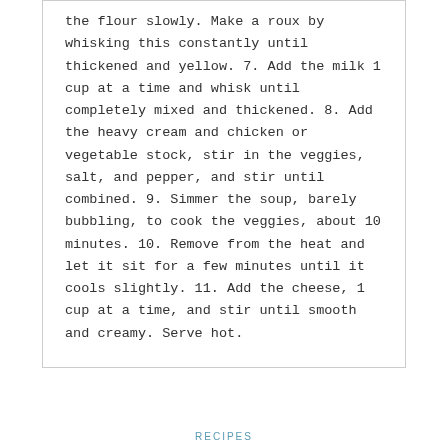the flour slowly. Make a roux by whisking this constantly until thickened and yellow. 7. Add the milk 1 cup at a time and whisk until completely mixed and thickened. 8. Add the heavy cream and chicken or vegetable stock, stir in the veggies, salt, and pepper, and stir until combined. 9. Simmer the soup, barely bubbling, to cook the veggies, about 10 minutes. 10. Remove from the heat and let it sit for a few minutes until it cools slightly. 11. Add the cheese, 1 cup at a time, and stir until smooth and creamy. Serve hot.
RECIPES